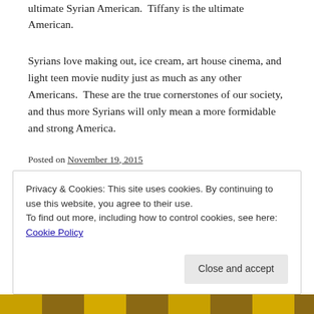ultimate Syrian American.  Tiffany is the ultimate American.
Syrians love making out, ice cream, art house cinema, and light teen movie nudity just as much as any other Americans.  These are the true cornerstones of our society, and thus more Syrians will only mean a more formidable and strong America.
Posted on November 19, 2015
Posted in Uncategorized
Tagged America, Ice Cream, Immigration, Kelly Slater, Paula Abdul, Refugees, Seinfeld, Syria, Teri Hatcher, Terrence Malick, Tiffany, US Foreign Policy, USA NUMBER 1  Leave a comment
Privacy & Cookies: This site uses cookies. By continuing to use this website, you agree to their use.
To find out more, including how to control cookies, see here: Cookie Policy